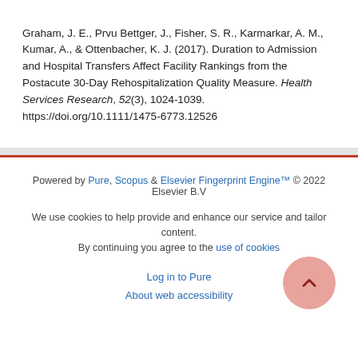Graham, J. E., Prvu Bettger, J., Fisher, S. R., Karmarkar, A. M., Kumar, A., & Ottenbacher, K. J. (2017). Duration to Admission and Hospital Transfers Affect Facility Rankings from the Postacute 30-Day Rehospitalization Quality Measure. Health Services Research, 52(3), 1024-1039. https://doi.org/10.1111/1475-6773.12526
Powered by Pure, Scopus & Elsevier Fingerprint Engine™ © 2022 Elsevier B.V
We use cookies to help provide and enhance our service and tailor content. By continuing you agree to the use of cookies
Log in to Pure
About web accessibility